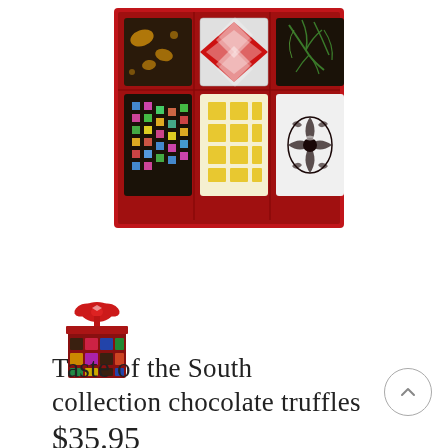[Figure (photo): A red box of 6 decorative chocolate truffles arranged in a 2-row 3-column grid. Top row: dark chocolate with gold leaf, red and white checkered pattern, dark chocolate with green branch design. Bottom row: dark chocolate with colorful pixel/square pattern, yellow/white checkered pattern, white with dark baroque floral pattern.]
[Figure (logo): Small product logo icon showing a red gift bow on top of a mini box of chocolates]
Taste of the South collection chocolate truffles
$35.95